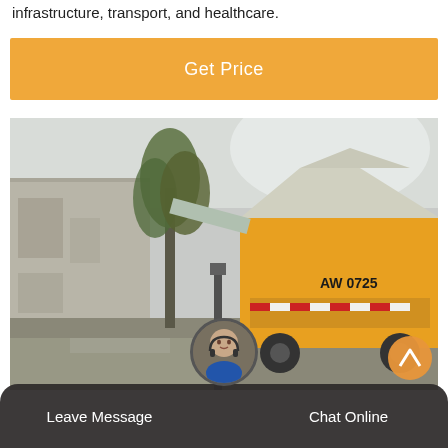infrastructure, transport, and healthcare.
[Figure (other): Orange 'Get Price' call-to-action button]
[Figure (photo): Outdoor scene showing a yellow industrial truck (marked 'AW 0725') parked near a building with trees in the background, overcast sky]
[Figure (other): Customer service avatar circle showing a woman with headset]
Leave Message   Chat Online